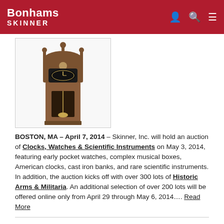Bonhams SKINNER
[Figure (photo): An antique grandfather clock with ornate carved wooden case, pendulum visible through glass panel]
BOSTON, MA – April 7, 2014 – Skinner, Inc. will hold an auction of Clocks, Watches & Scientific Instruments on May 3, 2014, featuring early pocket watches, complex musical boxes, American clocks, cast iron banks, and rare scientific instruments. In addition, the auction kicks off with over 300 lots of Historic Arms & Militaria. An additional selection of over 200 lots will be offered online only from April 29 through May 6, 2014…. Read More
Posted in News | Tagged age of exploration, american clocks, antique clocks, auction, Bernhard, cast iron banks, european clocks, french clocks, horological, Howard, mechanical banks, Mulliken, Munroe, musical box, navigation, pocket watch, repeating circle, Robert Cheney